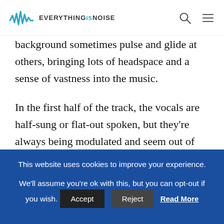EVERYTHINGSNOISE
background sometimes pulse and glide at others, bringing lots of headspace and a sense of vastness into the music.
In the first half of the track, the vocals are half-sung or flat-out spoken, but they’re always being modulated and seem out of phase, reminding me of a
This website uses cookies to improve your experience. We'll assume you're ok with this, but you can opt-out if you wish. Accept Reject Read More